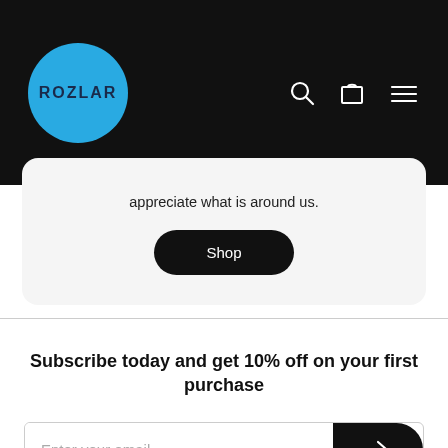ROZLAR navigation bar with logo, search, cart, and menu icons
appreciate what is around us.
Shop
Subscribe today and get 10% off on your first purchase
Enter your email